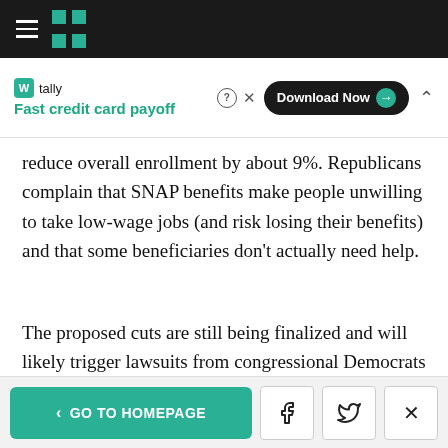HuffPost navigation bar with logo
[Figure (other): Tally app advertisement banner: Fast credit card payoff, Download Now button]
reduce overall enrollment by about 9%. Republicans complain that SNAP benefits make people unwilling to take low-wage jobs (and risk losing their benefits) and that some beneficiaries don’t actually need help.
The proposed cuts are still being finalized and will likely trigger lawsuits from congressional Democrats and anti-hunger groups.
GO TO HOMEPAGE | Facebook share | Twitter share | Close